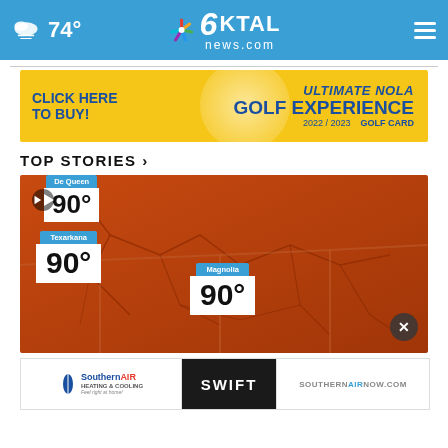74° KTAL news.com
[Figure (screenshot): KTAL NBC 6 news website header with weather (74°), logo, and hamburger menu on blue background]
[Figure (photo): Advertisement banner: CLICK HERE TO BUY! ULTIMATE NOLA Golf Experience 2022/2023 GOLF CARD on yellow background]
TOP STORIES ›
[Figure (photo): Weather map showing temperatures of 90° for De Queen, Texarkana, and Magnolia on an orange-red regional map with state boundaries]
[Figure (photo): Advertisement strip: Southern Air Heating & Cooling logo | SWIFT text | SOUTHERNAIRNOW.COM]